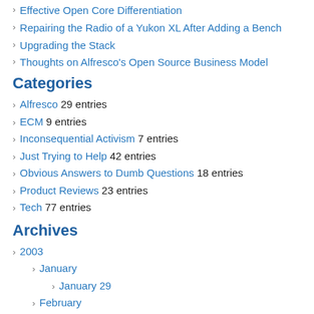Effective Open Core Differentiation
Repairing the Radio of a Yukon XL After Adding a Bench
Upgrading the Stack
Thoughts on Alfresco's Open Source Business Model
Categories
Alfresco 29 entries
ECM 9 entries
Inconsequential Activism 7 entries
Just Trying to Help 42 entries
Obvious Answers to Dumb Questions 18 entries
Product Reviews 23 entries
Tech 77 entries
Archives
2003
January
January 29
February
February 28
March